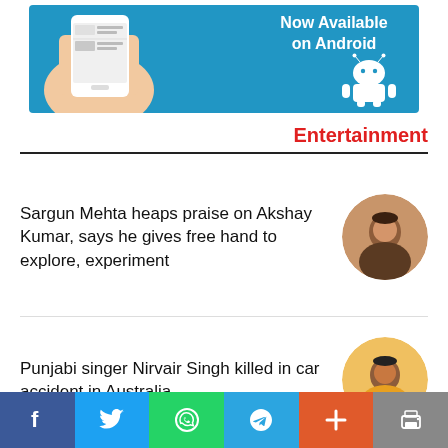[Figure (photo): Advertisement banner: App now available on Android with Android robot logo and a hand holding a phone showing news headlines. Blue background.]
Entertainment
Sargun Mehta heaps praise on Akshay Kumar, says he gives free hand to explore, experiment
[Figure (photo): Circular thumbnail photo of Sargun Mehta]
Punjabi singer Nirvair Singh killed in car accident in Australia
[Figure (photo): Circular thumbnail photo of Nirvair Singh in yellow floral shirt]
[Figure (other): Social sharing bar with Facebook, Twitter, WhatsApp, Telegram, More (+), and Print buttons]